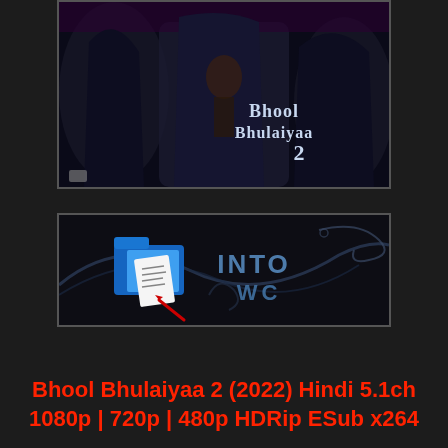[Figure (photo): Movie poster for Bhool Bhulaiyaa 2 showing dark-costumed figures and the film title in stylized text]
[Figure (logo): Website or brand logo with a folder icon with papers and stylized text reading 'INTO WC' or similar, with decorative swirls, on a dark background]
Bhool Bhulaiyaa 2 (2022) Hindi 5.1ch 1080p | 720p | 480p HDRip ESub x264